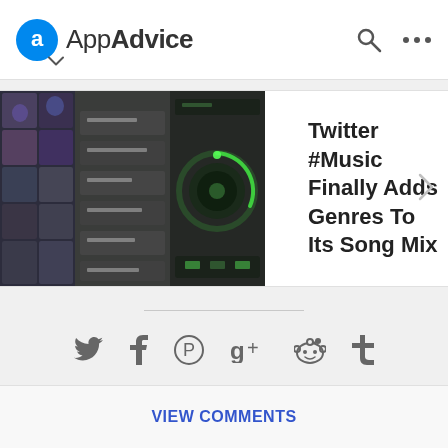AppAdvice
[Figure (screenshot): AppAdvice mobile app article card showing Twitter #Music Finally Adds Genres To Its Song Mix with three app screenshot thumbnails]
Twitter #Music Finally Adds Genres To Its Song Mix
[Figure (infographic): Social sharing icons: Twitter, Facebook, Pinterest, Google+, Reddit, Tumblr]
VIEW COMMENTS